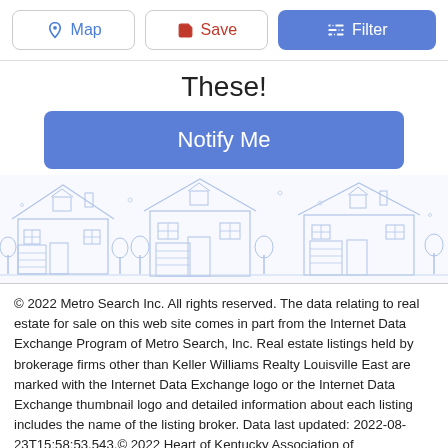[Figure (screenshot): Toolbar with Map, Save, and Filter buttons at the top of a real estate web application]
These!
[Figure (illustration): Light blue outline illustration of suburban houses/neighborhood]
© 2022 Metro Search Inc. All rights reserved. The data relating to real estate for sale on this web site comes in part from the Internet Data Exchange Program of Metro Search, Inc. Real estate listings held by brokerage firms other than Keller Williams Realty Louisville East are marked with the Internet Data Exchange logo or the Internet Data Exchange thumbnail logo and detailed information about each listing includes the name of the listing broker. Data last updated: 2022-08-23T15:58:53.543.© 2022 Heart of Kentucky Association of REALTORS®. All rights reserved. IDX information is provided exclusively for consumers' personal, non-commercial use and may not be used for any purpose other than to identify prospective properties consumers may be interested in purchasing.